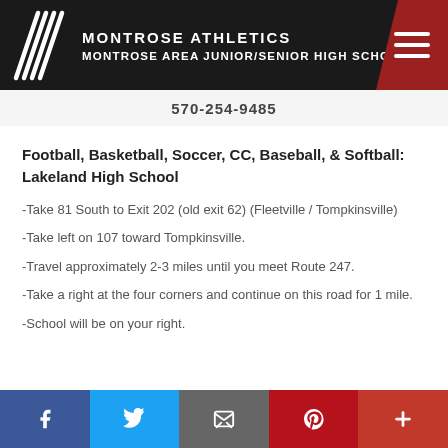MONTROSE ATHLETICS
MONTROSE AREA JUNIOR/SENIOR HIGH SCHOOL
570-254-9485
Football, Basketball, Soccer, CC, Baseball, & Softball: Lakeland High School
-Take 81 South to Exit 202 (old exit 62) (Fleetville / Tompkinsville)
-Take left on 107 toward Tompkinsville.
-Travel approximately 2-3 miles until you meet Route 247.
-Take a right at the four corners and continue on this road for 1 mile.
-School will be on your right.
Social share bar: Facebook, Twitter, Email, Pinterest, More